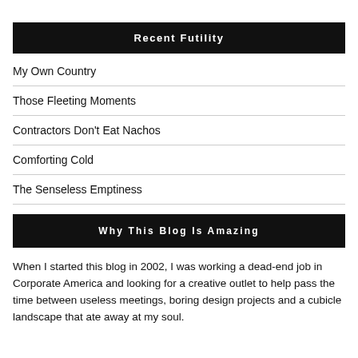Recent Futility
My Own Country
Those Fleeting Moments
Contractors Don't Eat Nachos
Comforting Cold
The Senseless Emptiness
Why This Blog Is Amazing
When I started this blog in 2002, I was working a dead-end job in Corporate America and looking for a creative outlet to help pass the time between useless meetings, boring design projects and a cubicle landscape that ate away at my soul.